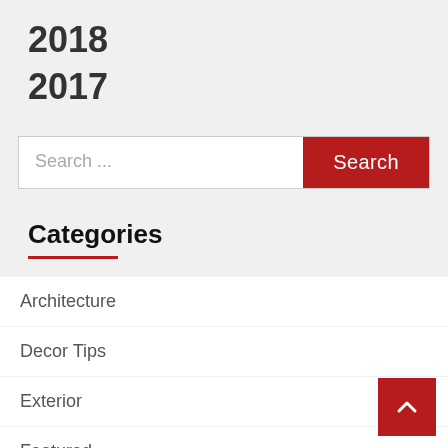2018
2017
[Figure (other): Search bar with text input field showing 'Search ...' placeholder and a red 'Search' button]
Categories
Architecture
Decor Tips
Exterior
Featured
Flooring
Furniture